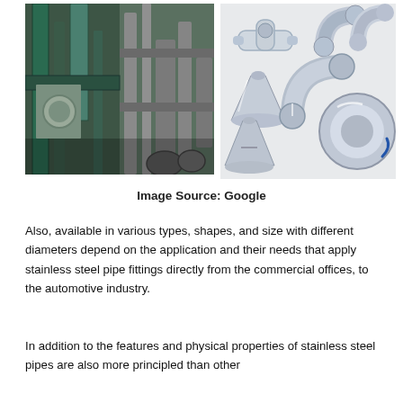[Figure (photo): Left: industrial facility with green and grey metal pipes, valves and equipment. Right: collection of polished stainless steel pipe fittings including elbows, reducers, couplings and flanges on white background.]
Image Source: Google
Also, available in various types, shapes, and size with different diameters depend on the application and their needs that apply stainless steel pipe fittings directly from the commercial offices, to the automotive industry.
In addition to the features and physical properties of stainless steel pipes are also more principled than other